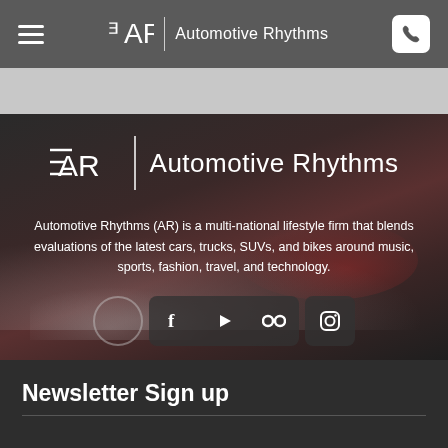≡  ᴲᴬᴿ | Automotive Rhythms  [phone icon]
[Figure (screenshot): Gray spacer bar below navigation]
[Figure (photo): Hero section with dark car background, smoke/drift effect. Contains Automotive Rhythms logo and tagline text.]
ᴲᴬᴿ | Automotive Rhythms
Automotive Rhythms (AR) is a multi-national lifestyle firm that blends evaluations of the latest cars, trucks, SUVs, and bikes around music, sports, fashion, travel, and technology.
[Figure (infographic): Social media icons row: Facebook, YouTube, Flickr, Instagram]
Newsletter Sign up